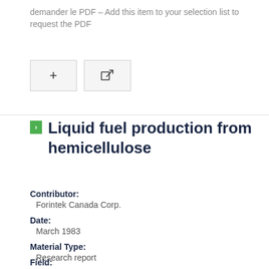demander le PDF – Add this item to your selection list to request the PDF
[Figure (screenshot): Two UI buttons: a plus (+) button and an external link button]
Liquid fuel production from hemicellulose
Contributor:
Forintek Canada Corp.
Date:
March 1983
Material Type:
Research report
Field: